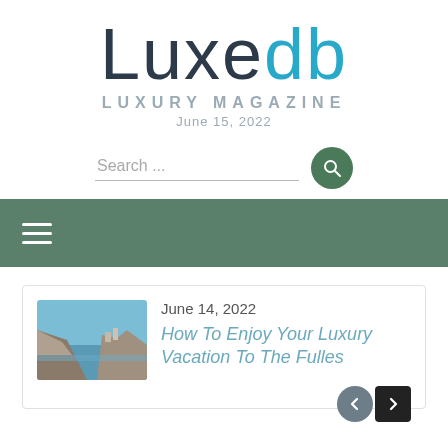[Figure (logo): Luxedb Luxury Magazine logo with 'Luxe' in dark navy and 'db' in cyan/teal color]
LUXURY MAGAZINE
June 15, 2022
[Figure (other): Search bar with text 'Search ...' and a green circular search button with magnifying glass icon]
[Figure (other): Green navigation bar with hamburger menu icon (three horizontal lines)]
[Figure (other): Article card with thumbnail photo of coastal/cliff landscape, date June 14, 2022, and article title link. Navigation arrows (back/forward) at bottom right.]
June 14, 2022
How To Enjoy Your Luxury Vacation To The Fulles